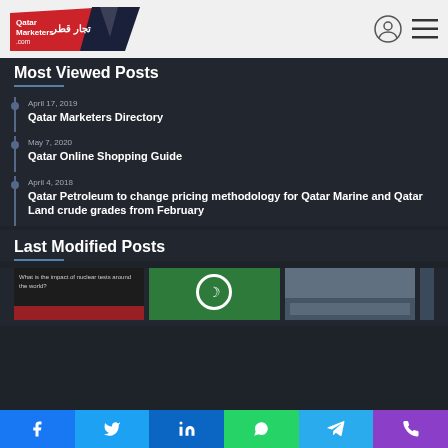Qatar Marketers / تجار قطر - logo and navigation
Most Viewed Posts
April 17, 2019
Qatar Marketers Directory
May 7, 2020
Qatar Online Shopping Guide
April 4, 2018
Qatar Petroleum to change pricing methodology for Qatar Marine and Qatar Land crude grades from February
Last Modified Posts
[Figure (screenshot): Three thumbnail images for Last Modified Posts section]
Facebook Twitter LinkedIn WhatsApp Telegram Phone social share bar